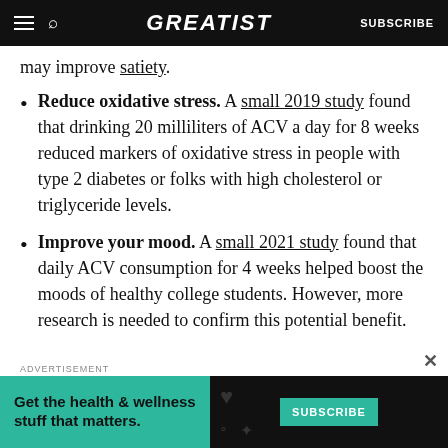GREATIST  SUBSCRIBE
may improve satiety.
Reduce oxidative stress. A small 2019 study found that drinking 20 milliliters of ACV a day for 8 weeks reduced markers of oxidative stress in people with type 2 diabetes or folks with high cholesterol or triglyceride levels.
Improve your mood. A small 2021 study found that daily ACV consumption for 4 weeks helped boost the moods of healthy college students. However, more research is needed to confirm this potential benefit.
[Figure (other): Advertisement banner: green section with text 'Get the health & wellness stuff that matters.' and a SUBSCRIBE button on dark background]